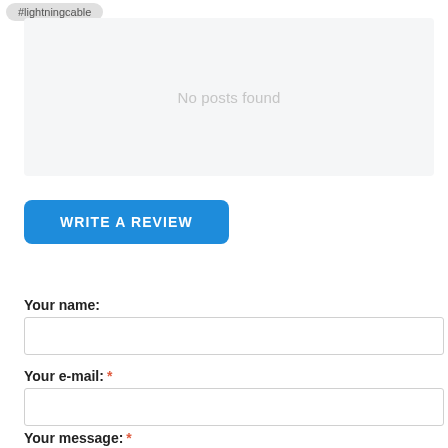#lightningcable
[Figure (screenshot): Gray box with 'No posts found' message in light text on a light gray background]
WRITE A REVIEW
Your name:
Your e-mail: *
Your message: *